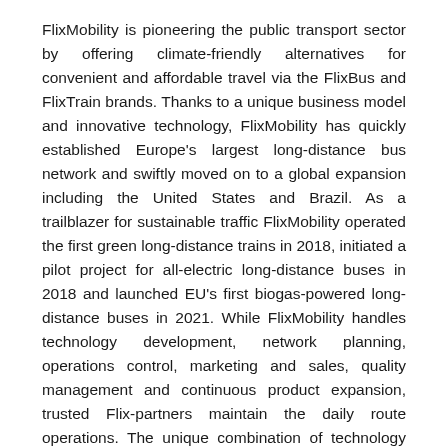FlixMobility is pioneering the public transport sector by offering climate-friendly alternatives for convenient and affordable travel via the FlixBus and FlixTrain brands. Thanks to a unique business model and innovative technology, FlixMobility has quickly established Europe's largest long-distance bus network and swiftly moved on to a global expansion including the United States and Brazil. As a trailblazer for sustainable traffic FlixMobility operated the first green long-distance trains in 2018, initiated a pilot project for all-electric long-distance buses in 2018 and launched EU's first biogas-powered long-distance buses in 2021. While FlixMobility handles technology development, network planning, operations control, marketing and sales, quality management and continuous product expansion, trusted Flix-partners maintain the daily route operations. The unique combination of technology start-up, e-commerce platform and classic transport company has positioned FlixMobility as a leader against major international corporations, permanently changing the global mobility landscape.